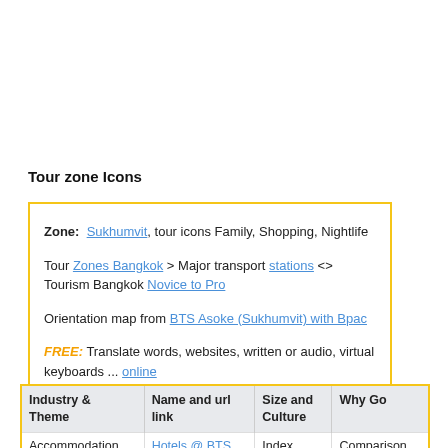Tour zone Icons
Zone: Sukhumvit, tour icons Family, Shopping, Nightlife

Tour Zones Bangkok > Major transport stations <> Tourism Bangkok Novice to Pro

Orientation map from BTS Asoke (Sukhumvit) with Bpac

FREE: Translate words, websites, written or audio, virtual keyboards ... online
| Industry & Theme | Name and url link | Size and Culture | Why Go |
| --- | --- | --- | --- |
| Accommodation | Hotels @ BTS | Index | Comparison |